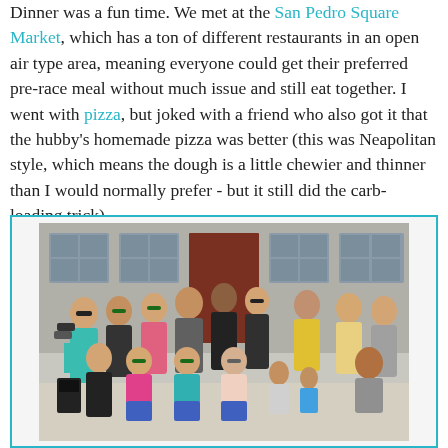Dinner was a fun time. We met at the San Pedro Square Market, which has a ton of different restaurants in an open air type area, meaning everyone could get their preferred pre-race meal without much issue and still eat together. I went with pizza, but joked with a friend who also got it that the hubby's homemade pizza was better (this was Neapolitan style, which means the dough is a little chewier and thinner than I would normally prefer - but it still did the carb-loading trick).
[Figure (photo): Group photo of approximately 16 people posing together outside a building with large windows. People are wearing athletic and casual clothing, some with sunglasses. Adults and children visible, one person crouching.]